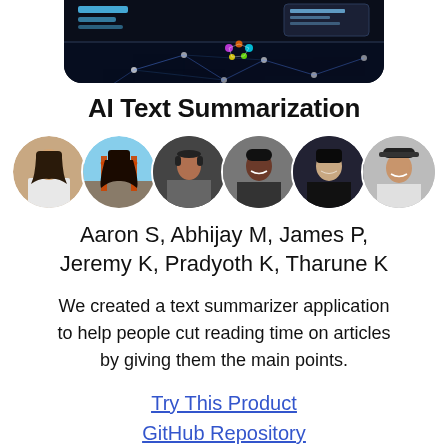[Figure (screenshot): Screenshot of an AI Text Summarization app interface showing a dark-themed mobile app with neural network imagery]
AI Text Summarization
[Figure (photo): Six circular profile photos of team members: Aaron S, Abhijay M, James P, Jeremy K, Pradyoth K, Tharune K]
Aaron S, Abhijay M, James P, Jeremy K, Pradyoth K, Tharune K
We created a text summarizer application to help people cut reading time on articles by giving them the main points.
Try This Product
GitHub Repository